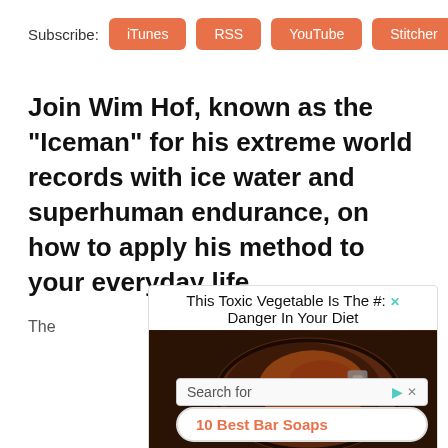Subscribe:  iTunes  RSS  YouTube  Stitcher
Join Wim Hof, known as the “Iceman” for his extreme world records with ice water and superhuman endurance, on how to apply his method to your everyday life.
The
[Figure (screenshot): Advertisement overlay showing 'This Toxic Vegetable Is The #: Danger In Your Diet' with an image of a burnt pan/skillet, a search bar showing 'Search for' with icons, and a rounded input with text '10 Best Bar Soaps']